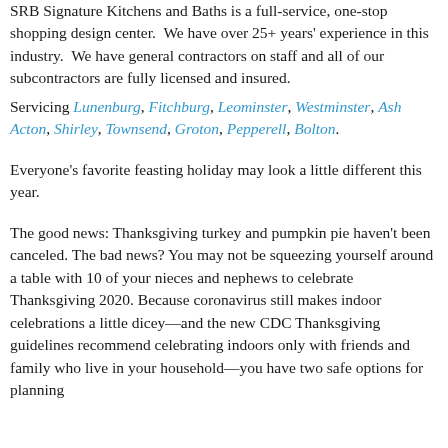SRB Signature Kitchens and Baths is a full-service, one-stop shopping design center.  We have over 25+ years' experience in this industry.  We have general contractors on staff and all of our subcontractors are fully licensed and insured.
Servicing Lunenburg, Fitchburg, Leominster, Westminster, Ash..., Acton, Shirley, Townsend, Groton, Pepperell, Bolton.
Everyone's favorite feasting holiday may look a little different this year.
The good news: Thanksgiving turkey and pumpkin pie haven't been canceled. The bad news? You may not be squeezing yourself around a table with 10 of your nieces and nephews to celebrate Thanksgiving 2020. Because coronavirus still makes indoor celebrations a little dicey—and the new CDC Thanksgiving guidelines recommend celebrating indoors only with friends and family who live in your household—you have two safe options for planning